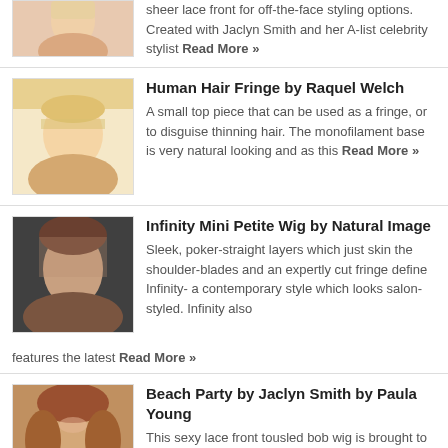[Figure (photo): Woman with blonde hair, partial view at top of page]
sheer lace front for off-the-face styling options. Created with Jaclyn Smith and her A-list celebrity stylist Read More »
[Figure (photo): Woman with blonde bangs and hair pulled back]
Human Hair Fringe by Raquel Welch
A small top piece that can be used as a fringe, or to disguise thinning hair. The monofilament base is very natural looking and as this Read More »
[Figure (photo): Woman with brunette layered hair]
Infinity Mini Petite Wig by Natural Image
Sleek, poker-straight layers which just skin the shoulder-blades and an expertly cut fringe define Infinity- a contemporary style which looks salon-styled. Infinity also features the latest Read More »
[Figure (photo): Woman with auburn wavy hair]
Beach Party by Jaclyn Smith by Paula Young
This sexy lace front tousled bob wig is brought to you by Jaclyn Smith, say hello to beach party! With lush collar-length layers that can be Read More »
[Figure (photo): Partial view of another product listing at bottom of page]